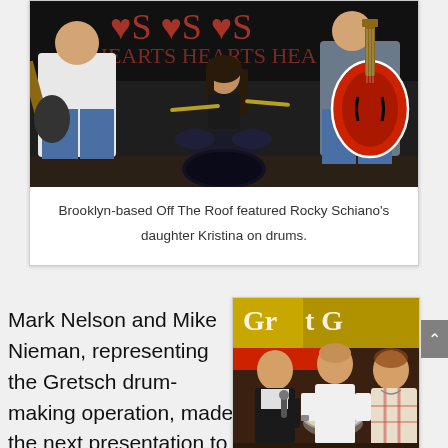[Figure (photo): Band performing on stage: three musicians visible — guitarist on left in white t-shirt and jeans, female drummer in center background, guitarist on right holding a red Gretsch guitar, in front of a backdrop with heart graphics.]
Brooklyn-based Off The Roof featured Rocky Schiano's daughter Kristina on drums.
Mark Nelson and Mike Nieman, representing the Gretsch drum-making operation, made the next presentation to Fred Gretsch. Appropriately enough, it
[Figure (photo): Three men at what appears to be a Gretsch display booth. Two men are handling a snare drum. Gretsch branding visible in background.]